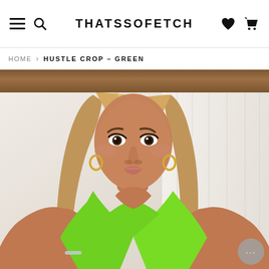THATSSOFETCH
HOME > HUSTLE CROP – GREEN
[Figure (photo): A young woman wearing a green criss-cross halter crop top, with long blonde highlighted hair, gold hoop earrings and a silver bracelet, photographed from the waist up against a light interior background with white curtains and wooden beams.]